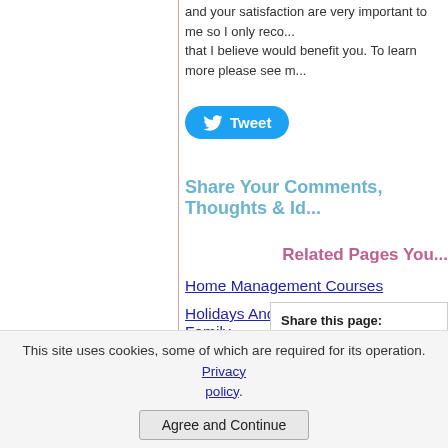and your satisfaction are very important to me so I only rec... that I believe would benefit you. To learn more please see m...
[Figure (other): Tweet button with Twitter bird icon]
Share Your Comments, Thoughts & Id...
Related Pages You...
Home Management Courses
Holidays And Celebrations With Your Family...
Go From Experiencing Holiday Stress Relie...
Share this page:
What's this?
Have your own blog or website? h...
This site uses cookies, some of which are required for its operation. Privacy policy.
Agree and Continue